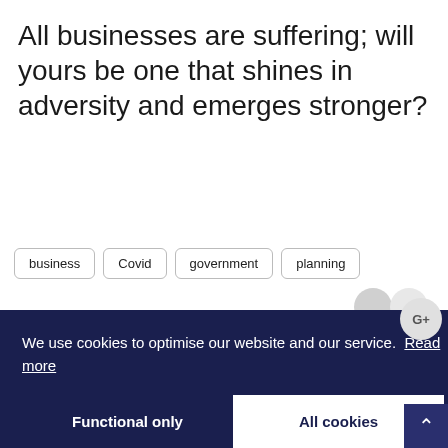All businesses are suffering; will yours be one that shines in adversity and emerges stronger?
business
Covid
government
planning
We use cookies to optimise our website and our service.  Read more
Functional only
All cookies
Write a Reply or Comment